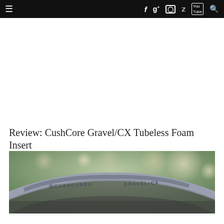≡  f  g+  ○  🐦  You Tube  🔍
Review: CushCore Gravel/CX Tubeless Foam Insert
[Figure (photo): Close-up photo of a CushCore Gravel/CX tubeless foam tire insert, grey foam ring with embossed text reading CUSHCORE GRAVEL CX, blurred green bokeh background.]